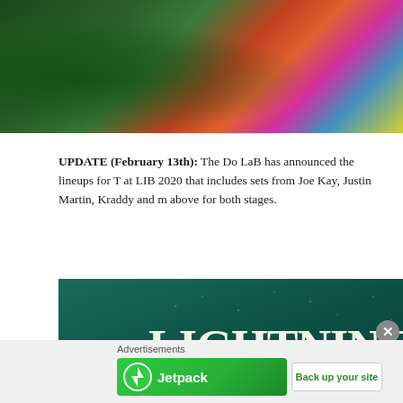[Figure (photo): Top portion of a colorful festival image showing tropical foliage on the left and vibrant costumed performers on the right with green/tropical and colorful crowd scene]
UPDATE (February 13th): The Do LaB has announced the lineups for T at LIB 2020 that includes sets from Joe Kay, Justin Martin, Kraddy and m above for both stages.
[Figure (illustration): Lightning in a Bottle festival promotional banner with teal/dark green background. Large decorative text reads 'LIGHTNING IN A BO' (cut off). Subtitle reads 'MEMORIAL DAY WEEKEND • MAY 20 - 25, 2020 • BUENA' and 'GRAND ARTIQUE' in gold text.]
Advertisements
[Figure (screenshot): Jetpack advertisement banner with green background showing Jetpack logo and 'Back up your site' button]